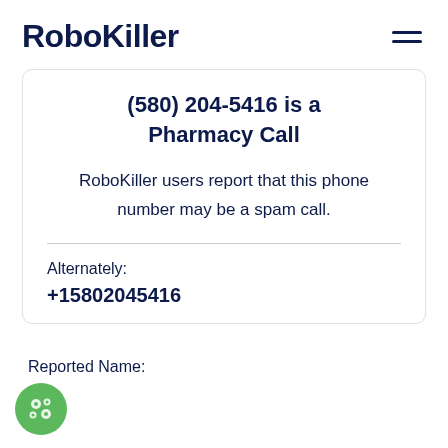RoboKiller
(580) 204-5416 is a Pharmacy Call
RoboKiller users report that this phone number may be a spam call.
Alternately:
+15802045416
Reported Name: